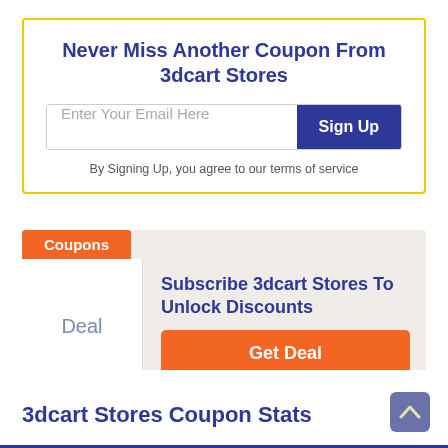Never Miss Another Coupon From 3dcart Stores
Enter Your Email Here
Sign Up
By Signing Up, you agree to our terms of service
Coupons
Deal
Subscribe 3dcart Stores To Unlock Discounts
Get Deal
3dcart Stores Coupon Stats